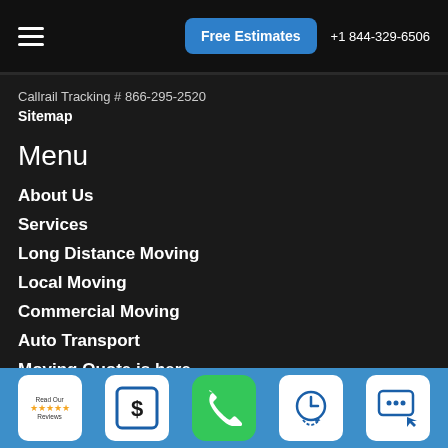Free Estimates  +1 844-329-6506
Callrail Tracking # 866-295-2520
Sitemap
Menu
About Us
Services
Long Distance Moving
Local Moving
Commercial Moving
Auto Transport
Moving Quote is here
Moving Supplies
[Figure (other): Bottom toolbar with 5 icons: Read Our Reviews badge, dollar sign estimate icon, green phone icon, clock/schedule icon, chat/message icon]